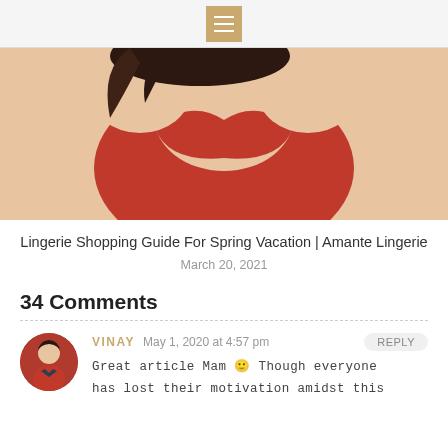Menu/hamburger icon navigation
[Figure (photo): Woman wearing red lingerie, partial view of upper body, dark hair]
Lingerie Shopping Guide For Spring Vacation | Amante Lingerie
March 20, 2021
34 Comments
VINAY   May 1, 2020 at 4:57 pm   REPLY
Great article Mam 🙂 Though everyone has lost their motivation amidst this